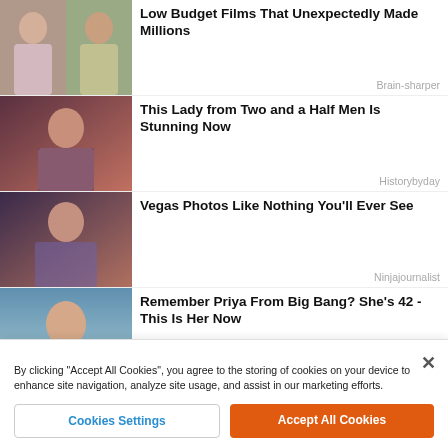[Figure (photo): Two women smiling outdoors, collage of two photos side by side]
Low Budget Films That Unexpectedly Made Millions
Brain-sharper
[Figure (photo): Woman with dark hair in a TV show setting]
This Lady from Two and a Half Men Is Stunning Now
Historybyday
[Figure (photo): Woman in blue top at what appears to be a casino]
Vegas Photos Like Nothing You'll Ever See
Ninjajournalist
[Figure (photo): Woman with long hair by the water]
Remember Priya From Big Bang? She's 42 - This Is Her Now
Pensandpatron
[Figure (photo): Close-up of several old pennies/coins]
These 30 Pennies Are Worth Millions - See What's
By clicking "Accept All Cookies", you agree to the storing of cookies on your device to enhance site navigation, analyze site usage, and assist in our marketing efforts.
Cookies Settings
Accept All Cookies